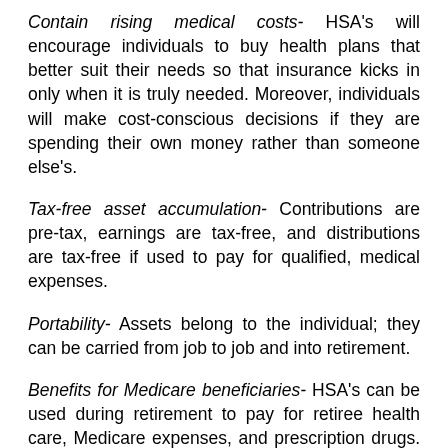Contain rising medical costs- HSA's will encourage individuals to buy health plans that better suit their needs so that insurance kicks in only when it is truly needed. Moreover, individuals will make cost-conscious decisions if they are spending their own money rather than someone else's.
Tax-free asset accumulation- Contributions are pre-tax, earnings are tax-free, and distributions are tax-free if used to pay for qualified, medical expenses.
Portability- Assets belong to the individual; they can be carried from job to job and into retirement.
Benefits for Medicare beneficiaries- HSA's can be used during retirement to pay for retiree health care, Medicare expenses, and prescription drugs. HSA's will provide the most benefits to seniors who are unlikely to have employer-provided health care during retirement. During their peak